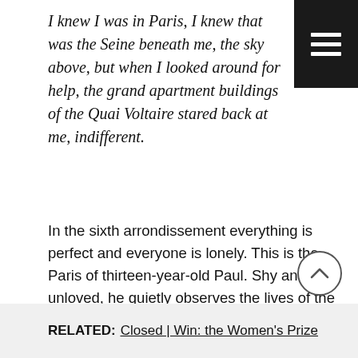I knew I was in Paris, I knew that was the Seine beneath me, the sky above, but when I looked around for help, the grand apartment buildings of the Quai Voltaire stared back at me, indifferent.
In the sixth arrondissement everything is perfect and everyone is lonely. This is the Paris of thirteen-year-old Paul. Shy and unloved, he quietly observes the lives of the self-involved grown-ups around him: his glamorous maman Séverine, her young musician lover Gabriel and his fitness-obsessed papa Philippe. Always overlooked, it's only a matter of time before Paul sees something that he's not supposed to see . . .
RELATED: Closed | Win: the Women's Prize